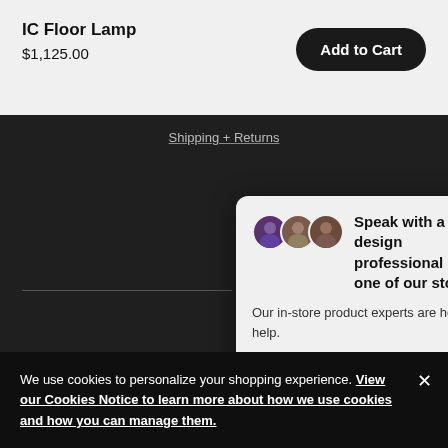IC Floor Lamp
$1,125.00
Add to Cart
Shipping + Returns
[Figure (screenshot): Chat popup card: 'Speak with a design professional in one of our stores. Our in-store product experts are here to help.' with Ask a question input and send button. Three avatar images shown.]
Newsletter — Sign Up
Be the first to know about DWR special offers, new product launches, and Studio events.
We use cookies to personalize your shopping experience. View our Cookies Notice to learn more about how we use cookies and how you can manage them.